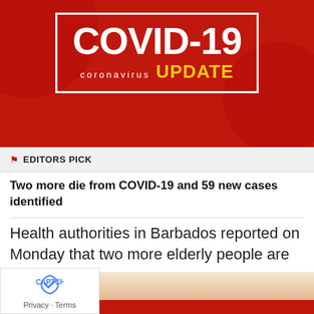[Figure (illustration): COVID-19 Coronavirus Update banner with red background, white bordered box containing bold white COVID-19 text, white coronavirus subtext, and yellow UPDATE text]
EDITORS PICK
Two more die from COVID-19 and 59 new cases identified
Health authorities in Barbados reported on Monday that two more elderly people are the latest to...
Posted on September 5, 2022
[Figure (photo): Partial photo of a person, bottom of page]